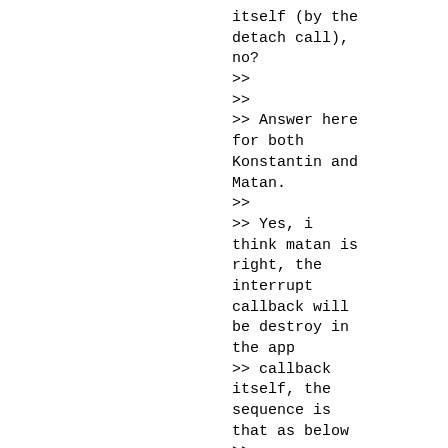itself (by the detach call), no?
>>
>>
>> Answer here for both Konstantin and Matan.
>>
>> Yes, i think matan is right, the interrupt callback will be destroy in the app
>> callback itself, the sequence is that as below
>>
>> hot-unplug interrupt -> interrupt callback -> app callback(return to finish
>> interrupt